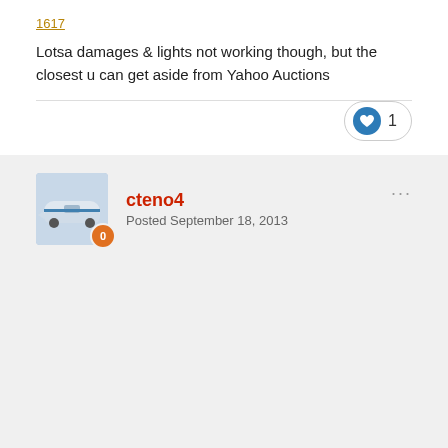1617
Lotsa damages & lights not working though, but the closest u can get aside from Yahoo Auctions
[Figure (other): Like button with heart icon showing count of 1]
cteno4
Posted September 18, 2013
the squid, fox, crab set is wonderful, one of my favorites in the painted train collection!

the used set would be worth it even if you repowered with tomytec or greenmax chassis units.

jeff